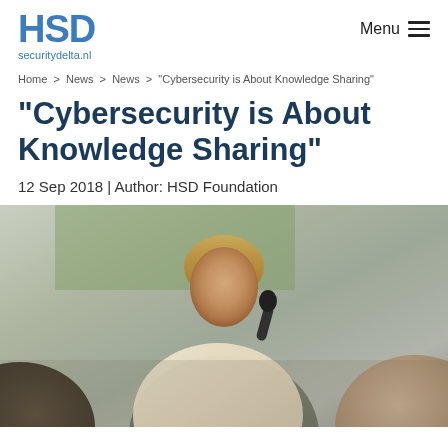HSD securitydelta.nl
Menu
Home > News > News > "Cybersecurity is About Knowledge Sharing"
"Cybersecurity is About Knowledge Sharing"
12 Sep 2018 | Author: HSD Foundation
[Figure (photo): Woman with blonde hair speaking at a conference, holding a microphone, wearing a cream-colored wrap over a grey top. Blurred audience heads visible in the foreground.]